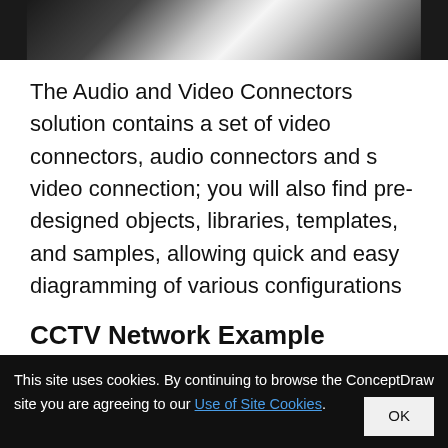[Figure (photo): Partial photo strip at top of page showing a close-up image with dark background and light object, likely a connector or device]
The Audio and Video Connectors solution contains a set of video connectors, audio connectors and s video connection; you will also find pre-designed objects, libraries, templates, and samples, allowing quick and easy diagramming of various configurations
CCTV Network Example
This site uses cookies. By continuing to browse the ConceptDraw site you are agreeing to our Use of Site Cookies.